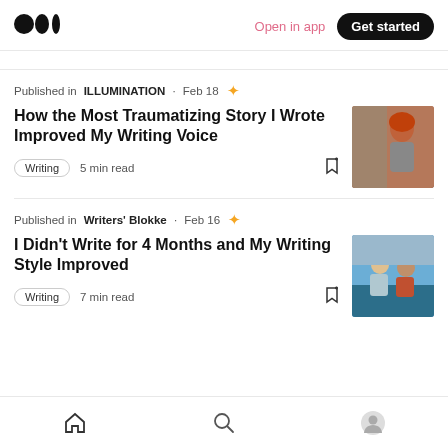Medium logo | Open in app | Get started
Published in ILLUMINATION · Feb 18 ★
How the Most Traumatizing Story I Wrote Improved My Writing Voice
Writing  5 min read
[Figure (photo): Thumbnail of a woman with red hair leaning against a wall]
Published in Writers' Blokke · Feb 16 ★
I Didn't Write for 4 Months and My Writing Style Improved
Writing  7 min read
[Figure (photo): Thumbnail of two women sitting and talking outdoors]
Home | Search | Profile